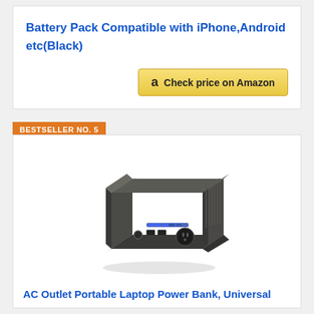Battery Pack Compatible with iPhone,Android etc(Black)
[Figure (other): Amazon 'Check price on Amazon' button with Amazon logo]
BESTSELLER NO. 5
[Figure (photo): Photo of a portable AC outlet power bank / power inverter device, rectangular dark gray metallic casing with AC outlet, USB ports, and ventilation grilles]
AC Outlet Portable Laptop Power Bank, Universal